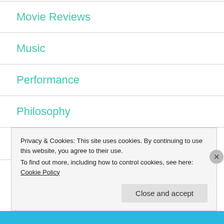Movie Reviews
Music
Performance
Philosophy
podcast
Privacy & Cookies: This site uses cookies. By continuing to use this website, you agree to their use.
To find out more, including how to control cookies, see here: Cookie Policy
Close and accept